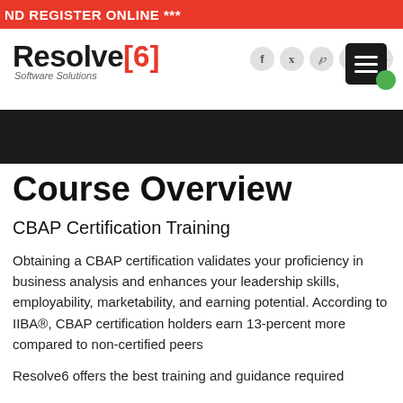ND REGISTER ONLINE ***
[Figure (logo): Resolve[6] Software Solutions logo with social media icons (f, twitter, pinterest, youtube, G+) and hamburger menu icon]
Course Overview
CBAP Certification Training
Obtaining a CBAP certification validates your proficiency in business analysis and enhances your leadership skills, employability, marketability, and earning potential. According to IIBA®, CBAP certification holders earn 13-percent more compared to non-certified peers
Resolve6 offers the best training and guidance required